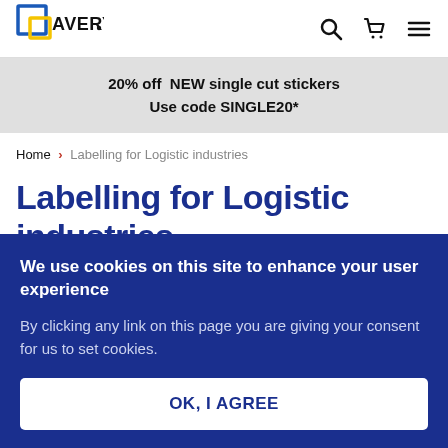Avery logo, search, cart, menu icons
20% off  NEW single cut stickers
Use code SINGLE20*
Home > Labelling for Logistic industries
Labelling for Logistic industries
We use cookies on this site to enhance your user experience
By clicking any link on this page you are giving your consent for us to set cookies.
OK, I AGREE